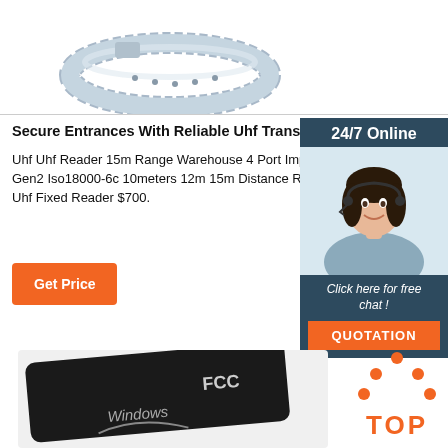[Figure (photo): UHF RFID wristband/transponder bracelet in light blue/silver color, shown partially at top of page]
Secure Entrances With Reliable Uhf Transponder R...
Uhf Uhf Reader 15m Range Warehouse 4 Port Impi Ethernet Epc Gen2 Iso18000-6c 10meters 12m 15m Distance Range Tag Writer Uhf Fixed Reader $700.
[Figure (photo): Customer service representative woman with headset smiling, inside a dark blue sidebar box labeled 24/7 Online]
24/7 Online
Click here for free chat !
QUOTATION
Get Price
[Figure (photo): Dark black NFC/RFID card with FCC mark and Windows logo text on it]
[Figure (logo): TOP badge with orange dots above forming a house/arrow shape and orange TOP text]